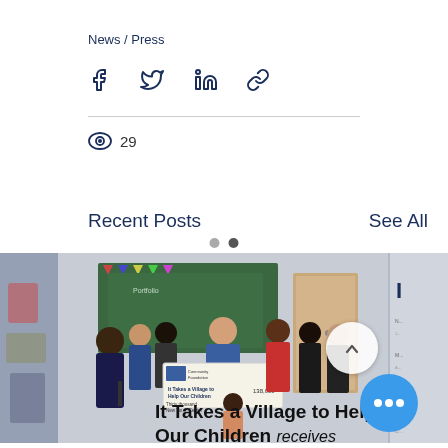News / Press
[Figure (infographic): Social share icons row: Facebook, Twitter, LinkedIn, Link/chain icon]
29 (view count)
Recent Posts
See All
[Figure (photo): Carousel of recent posts. Center image shows a group of people holding a large ceremonial check from Community Foundation reading 'It Takes a Village to Help Our Children' for Thirty thousand dollars to New Youth Center. Navigation arrow button visible on right.]
It Takes a Village to Help Our Children receives